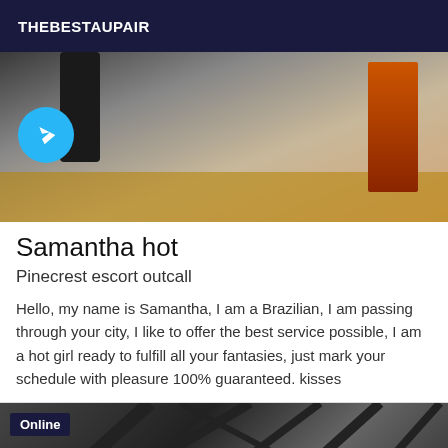THEBESTAUPAIR
[Figure (photo): Photo showing legs in black boots/heels with a wooden floor and red door in background, with a Telegram icon overlay]
Samantha hot
Pinecrest escort outcall
Hello, my name is Samantha, I am a Brazilian, I am passing through your city, I like to offer the best service possible, I am a hot girl ready to fulfill all your fantasies, just mark your schedule with pleasure 100% guaranteed. kisses
[Figure (photo): Black and white photo showing geometric ceiling or architectural lines, with an 'Online' badge overlay]